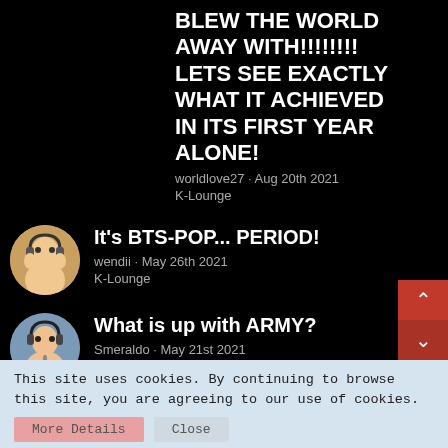BLEW THE WORLD AWAY WITH!!!!!!!! LETS SEE EXACTLY WHAT IT ACHIEVED IN ITS FIRST YEAR ALONE!
worldlove27 · Aug 20th 2021
K-Lounge
It's BTS-POP... PERIOD!
wendii · May 26th 2021
K-Lounge
What is up with ARMY?
Smeraldo · May 21st 2021
K-Lounge
BTS music quality
monalisalove · May 21st 2021
K-Lounge
This site uses cookies. By continuing to browse this site, you are agreeing to our use of cookies.